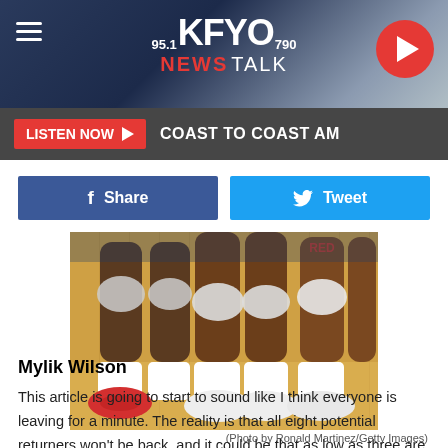95.1 KFYO 790 NEWS TALK
LISTEN NOW ▶  COAST TO COAST AM
[Figure (other): Facebook Share button and Twitter Tweet button]
[Figure (photo): Basketball players' legs and sneakers on a hardwood court, one player wearing red shoes]
(Photo by Ronald Martinez/Getty Images)
Mylik Wilson
This article is going to start to sound like I think everyone is leaving for a minute. The reality is that all eight potential returners won't be back, and it could be that as low as three are back in the scarlet and black.